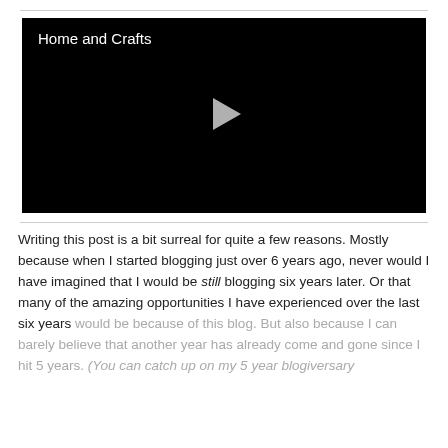[Figure (screenshot): Video player with black background, title 'Home and Crafts' in white text at top-left, and a grey play button triangle in the center.]
Writing this post is a bit surreal for quite a few reasons. Mostly because when I started blogging just over 6 years ago, never would I have imagined that I would be still blogging six years later. Or that many of the amazing opportunities I have experienced over the last six years would be because of this blog. But also because I can barely believe that another year has already come and gone since I hit 5 years. (You can catch up on my 5 year blogiversary...